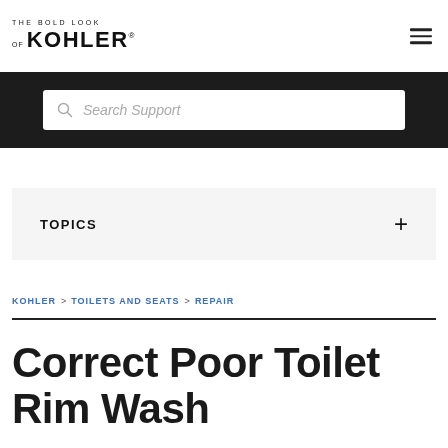[Figure (logo): The Bold Look of Kohler logo in black text]
[Figure (screenshot): Hamburger menu icon (three horizontal lines)]
[Figure (screenshot): Search box with magnifying glass icon and italic placeholder text 'Search Support' on dark background]
TOPICS +
KOHLER > TOILETS AND SEATS > REPAIR
Correct Poor Toilet Rim Wash